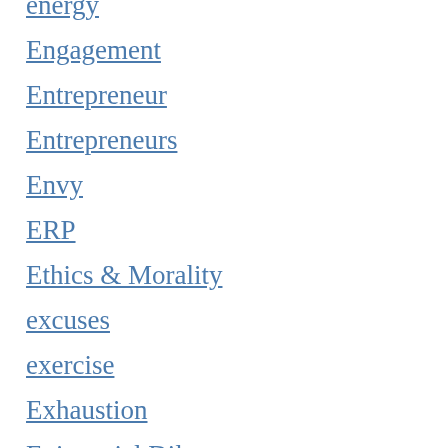energy
Engagement
Entrepreneur
Entrepreneurs
Envy
ERP
Ethics & Morality
excuses
exercise
Exhaustion
Existential Dilemma
Existential dread
Existentialism
exit plan
Expectations
experience